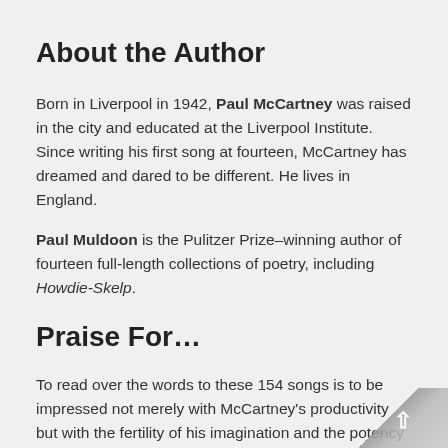About the Author
Born in Liverpool in 1942, Paul McCartney was raised in the city and educated at the Liverpool Institute. Since writing his first song at fourteen, McCartney has dreamed and dared to be different. He lives in England.
Paul Muldoon is the Pulitzer Prize–winning author of fourteen full-length collections of poetry, including Howdie-Skelp.
Praise For…
To read over the words to these 154 songs is to be impressed not merely with McCartney's productivity but with the fertility of his imagination and the potency of his offhand, unfussy style... The